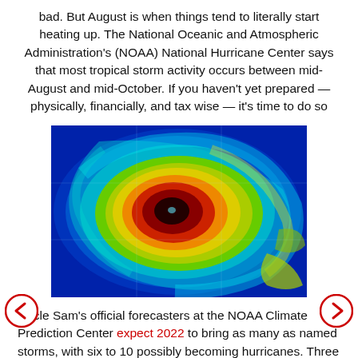bad. But August is when things tend to literally start heating up. The National Oceanic and Atmospheric Administration's (NOAA) National Hurricane Center says that most tropical storm activity occurs between mid-August and mid-October. If you haven't yet prepared — physically, financially, and tax wise — it's time to do so
[Figure (photo): Satellite thermal image of a hurricane viewed from above, showing a spiral storm with a well-defined eye at center, colored in infrared false-color from blue (outer bands) through green, yellow, orange, and red/dark center (eye).]
Uncle Sam's official forecasters at the NOAA Climate Prediction Center expect 2022 to bring as many as named storms, with six to 10 possibly becoming hurricanes. Three to six of those could reach major status, which is category 3, 4 or 5 with winds of 111